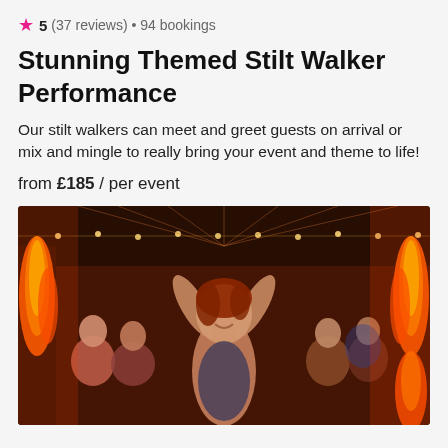★ 5 (37 reviews) • 94 bookings
Stunning Themed Stilt Walker Performance
Our stilt walkers can meet and greet guests on arrival or mix and mingle to really bring your event and theme to life!
from £185 / per event
[Figure (photo): A woman with red hair dancing with arms raised above her head, smiling, at an outdoor evening event. There are flames on either side and string lights in the background. Onlookers are visible in the crowd behind her.]